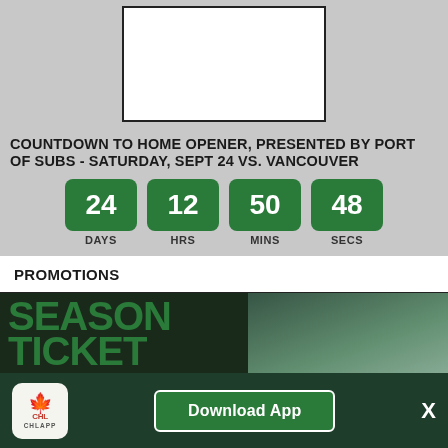[Figure (screenshot): White rectangle with black border on grey background, top portion of a sports team website]
COUNTDOWN TO HOME OPENER, PRESENTED BY PORT OF SUBS - SATURDAY, SEPT 24 VS. VANCOUVER
[Figure (infographic): Countdown timer showing 24 DAYS, 12 HRS, 50 MINS, 48 SECS in green rounded boxes]
PROMOTIONS
[Figure (photo): Season ticket deposit promotional image showing green text 'SEASON TICKET DEPOSIT' with a hockey player in white uniform on dark green background]
Download App
[Figure (logo): CHL App logo - red and green with maple leaf, CHLAPP text below]